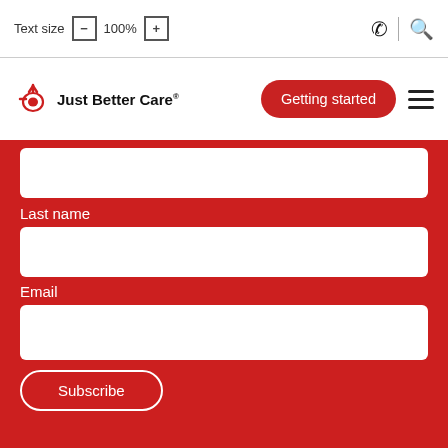Text size  −  100%  +
[Figure (logo): Just Better Care logo with stylized hand icon]
Getting started
Last name
Email
Subscribe